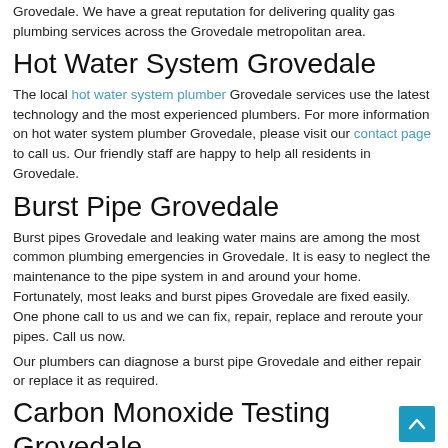Grovedale. We have a great reputation for delivering quality gas plumbing services across the Grovedale metropolitan area.
Hot Water System Grovedale
The local hot water system plumber Grovedale services use the latest technology and the most experienced plumbers. For more information on hot water system plumber Grovedale, please visit our contact page to call us. Our friendly staff are happy to help all residents in Grovedale.
Burst Pipe Grovedale
Burst pipes Grovedale and leaking water mains are among the most common plumbing emergencies in Grovedale. It is easy to neglect the maintenance to the pipe system in and around your home. Fortunately, most leaks and burst pipes Grovedale are fixed easily. One phone call to us and we can fix, repair, replace and reroute your pipes. Call us now.
Our plumbers can diagnose a burst pipe Grovedale and either repair or replace it as required.
Carbon Monoxide Testing Grovedale